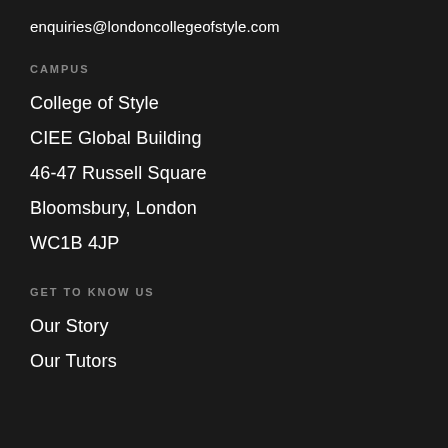enquiries@londoncollegeofstyle.com
CAMPUS
College of Style
CIEE Global Building
46-47 Russell Square
Bloomsbury, London
WC1B 4JP
GET TO KNOW US
Our Story
Our Tutors